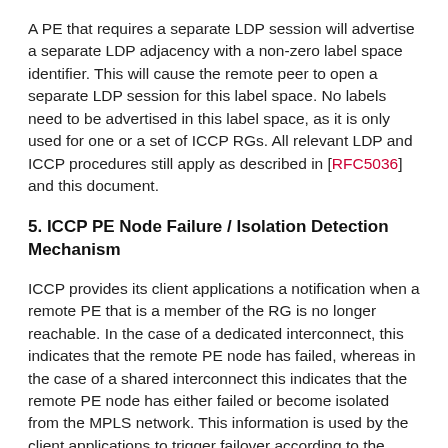A PE that requires a separate LDP session will advertise a separate LDP adjacency with a non-zero label space identifier. This will cause the remote peer to open a separate LDP session for this label space. No labels need to be advertised in this label space, as it is only used for one or a set of ICCP RGs. All relevant LDP and ICCP procedures still apply as described in [RFC5036] and this document.
5. ICCP PE Node Failure / Isolation Detection Mechanism
ICCP provides its client applications a notification when a remote PE that is a member of the RG is no longer reachable. In the case of a dedicated interconnect, this indicates that the remote PE node has failed, whereas in the case of a shared interconnect this indicates that the remote PE node has either failed or become isolated from the MPLS network. This information is used by the client applications to trigger failover according to the procedures of the redundancy protocol employed on the AC and PW. To